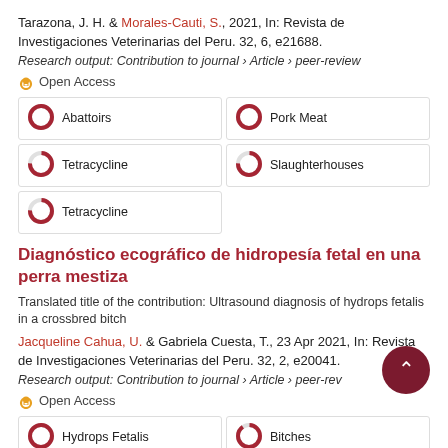Tarazona, J. H. & Morales-Cauti, S., 2021, In: Revista de Investigaciones Veterinarias del Peru. 32, 6, e21688.
Research output: Contribution to journal › Article › peer-review
Open Access
[Figure (infographic): Keyword boxes with donut chart icons: Abattoirs 100%, Pork Meat 100%, Tetracycline ~75%, Slaughterhouses ~75%, Tetracycline ~75%]
Diagnóstico ecográfico de hidropesía fetal en una perra mestiza
Translated title of the contribution: Ultrasound diagnosis of hydrops fetalis in a crossbred bitch
Jacqueline Cahua, U. & Gabriela Cuesta, T., 23 Apr 2021, In: Revista de Investigaciones Veterinarias del Peru. 32, 2, e20041.
Research output: Contribution to journal › Article › peer-review
Open Access
[Figure (infographic): Keyword boxes with donut chart icons: Hydrops Fetalis 100%, Bitches ~90%]